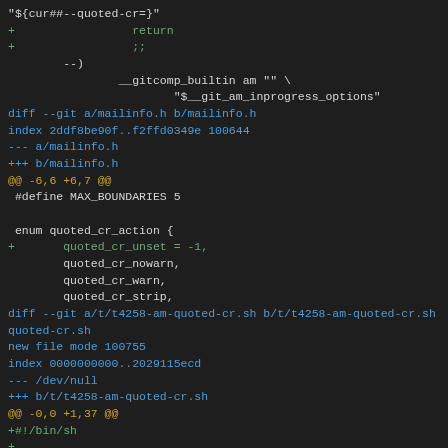[Figure (screenshot): A git diff output shown in a dark-themed code viewer. Shows changes to mailinfo.h and t4258-am-quoted-cr.sh files with color-coded additions (green), diff headers (blue), and hunk markers (gold).]